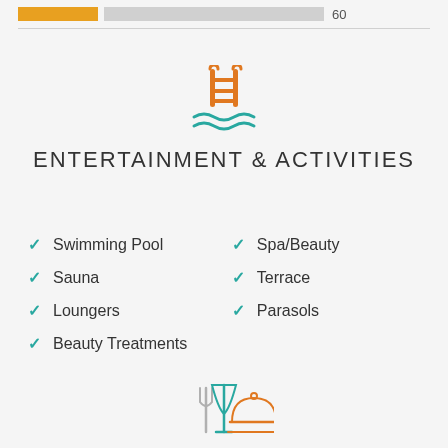[Figure (infographic): Partial bar chart at top showing a yellow bar and gray bar with number 60]
[Figure (illustration): Pool/swimming icon in orange with teal waves]
ENTERTAINMENT & ACTIVITIES
Swimming Pool
Spa/Beauty
Sauna
Terrace
Loungers
Parasols
Beauty Treatments
[Figure (illustration): Dining/restaurant icon with fork, wine glass and cloche at bottom]